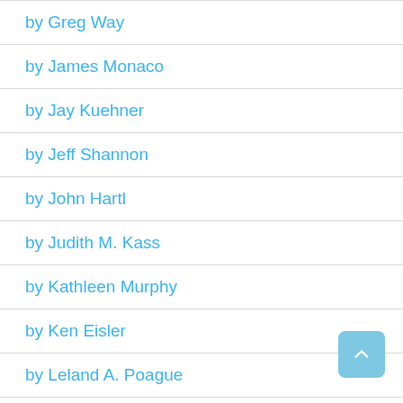by Greg Way
by James Monaco
by Jay Kuehner
by Jeff Shannon
by John Hartl
by Judith M. Kass
by Kathleen Murphy
by Ken Eisler
by Leland A. Poague